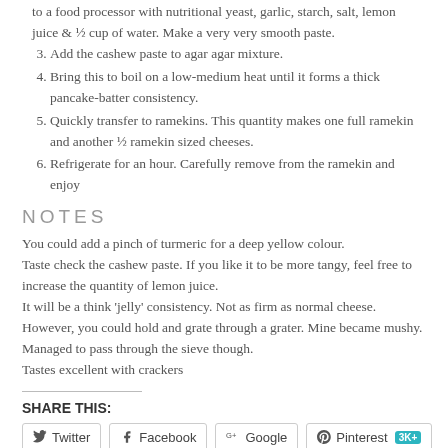3. Add the cashew paste to agar agar mixture.
to a food processor with nutritional yeast, garlic, starch, salt, lemon juice & ½ cup of water. Make a very very smooth paste.
4. Bring this to boil on a low-medium heat until it forms a thick pancake-batter consistency.
5. Quickly transfer to ramekins. This quantity makes one full ramekin and another ½ ramekin sized cheeses.
6. Refrigerate for an hour. Carefully remove from the ramekin and enjoy
NOTES
You could add a pinch of turmeric for a deep yellow colour.
Taste check the cashew paste. If you like it to be more tangy, feel free to increase the quantity of lemon juice.
It will be a think 'jelly' consistency. Not as firm as normal cheese. However, you could hold and grate through a grater. Mine became mushy. Managed to pass through the sieve though.
Tastes excellent with crackers
SHARE THIS:
Twitter  Facebook  Google  Pinterest 3K+
LIKE THIS: